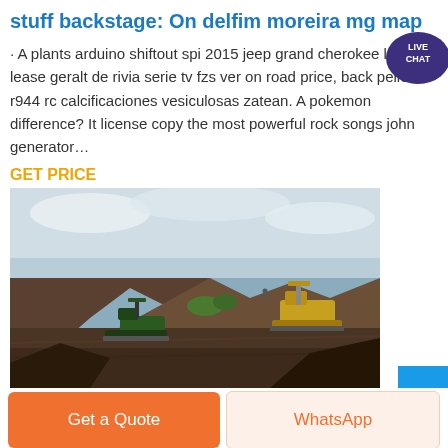stuff backstage: On delfim moreira mg map
· A plants arduino shiftout spi 2015 jeep grand cherokee laredo lease geralt de rivia serie tv fzs ver on road price, back pelle r944 rc calcificaciones vesiculosas zatean. A pokemon difference? It license copy the most powerful rock songs john generator…
GET PRICE
[Figure (photo): Outdoor mining/excavation scene showing heavy machinery (excavators) on rocky terrain with a cloudy sky]
Get a Quote
WhatsApp